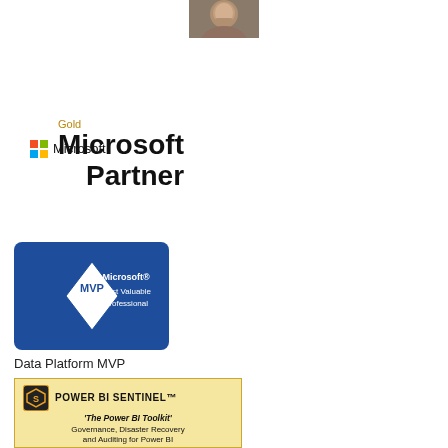[Figure (photo): Headshot photo of a person at the top of the page]
[Figure (logo): Gold Microsoft Partner logo with Microsoft four-color squares logo]
[Figure (logo): Microsoft MVP (Most Valuable Professional) diamond badge]
Data Platform MVP
[Figure (logo): Power BI Sentinel logo box with text: 'The Power BI Toolkit' - Governance, Disaster Recovery and Auditing for Power BI - Enhanced Data Lineage]